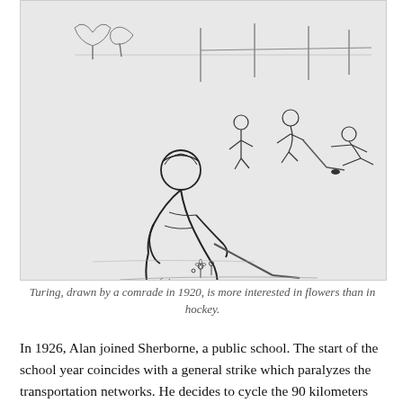[Figure (illustration): A pen-and-ink sketch from 1920 showing a hockey scene. In the foreground, a figure (Turing) is bent down examining flowers on the ice while other players skate and play hockey in the background.]
Turing, drawn by a comrade in 1920, is more interested in flowers than in hockey.
In 1926, Alan joined Sherborne, a public school. The start of the school year coincides with a general strike which paralyzes the transportation networks. He decides to cycle the 90 kilometers that separate his home from his new school, a feat reported by local newspapers: Alan's body turns out to be sporty and daring. At Sherborne, he continues, so to speak, his